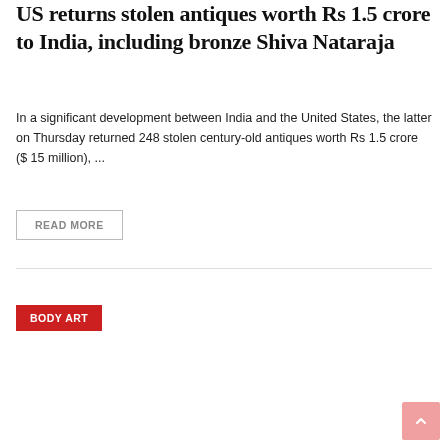US returns stolen antiques worth Rs 1.5 crore to India, including bronze Shiva Nataraja
In a significant development between India and the United States, the latter on Thursday returned 248 stolen century-old antiques worth Rs 1.5 crore ($ 15 million), ...
READ MORE
BODY ART